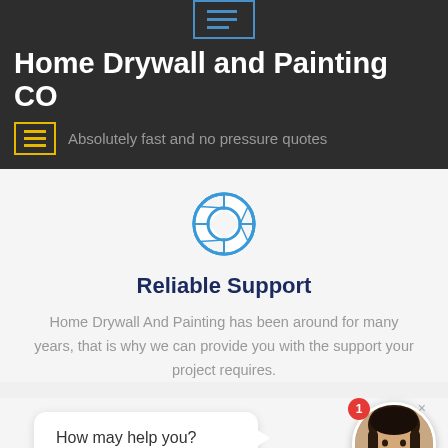Home Drywall and Painting CO — Absolutely fast and no pressure quotes
[Figure (illustration): Blue life-preserver / support icon]
Reliable Support
Home Drywall And Painting has been around for many years, that is why we can provide you with the support your project requires.
[Figure (screenshot): Chat widget with message 'How may help you?' and woman avatar with notification badge showing 1]